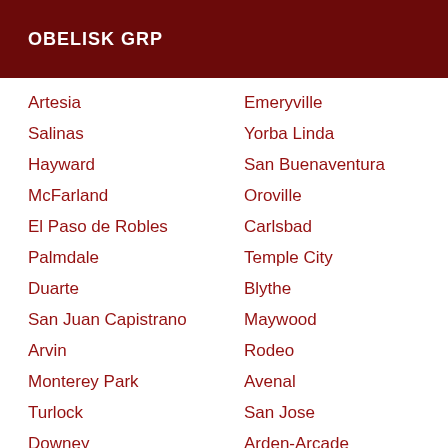OBELISK GRP
Emeryville
Artesia
Yorba Linda
Salinas
San Buenaventura
Hayward
Oroville
McFarland
Carlsbad
El Paso de Robles
Temple City
Palmdale
Blythe
Duarte
Maywood
San Juan Capistrano
Rodeo
Arvin
Avenal
Monterey Park
San Jose
Turlock
Arden-Arcade
Downey
Imperial